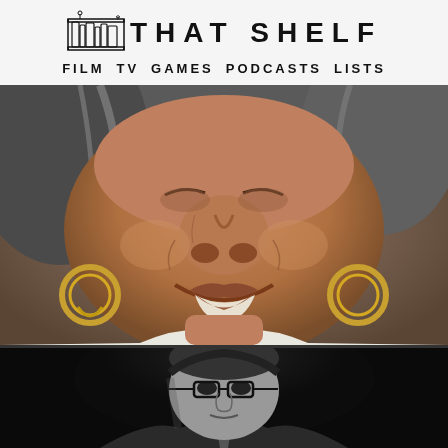THAT SHELF — FILM TV GAMES PODCASTS LISTS
[Figure (photo): Close-up portrait photo of an older Black woman with gray hair and gold hoop earrings, smiling, wearing a white collar]
[Figure (photo): Black and white photo of a man in a suit and tie against a dark background, partially visible from chest up]